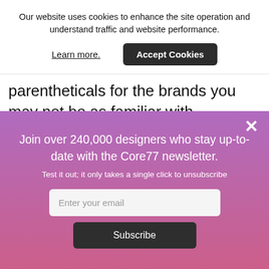Our website uses cookies to enhance the site operation and understand traffic and website performance.
Learn more.
Accept Cookies
parentheticals for the brands you may not be as familiar with.
×
Join over 240,000 designers who stay up-to-date with the Core77 newsletter.
Test it out; it only takes a single click to unsubscribe
Enter your email
Subscribe